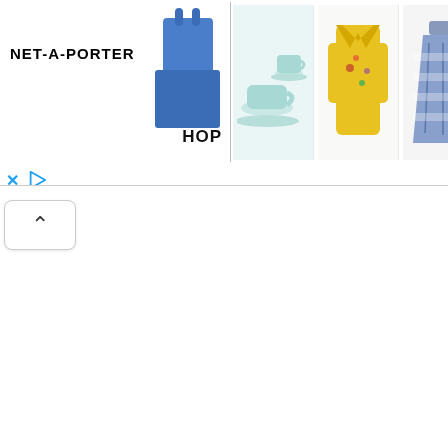[Figure (screenshot): NET-A-PORTER advertisement banner showing logo on left with blue bag, SHOP label, and a row of product images: tea cups, yellow floral coat, blue/white printed skirt, red circular object (Kjaer Weis), and dark clothing item. Below banner are ad icons (X and play button) and a scroll-up chevron button.]